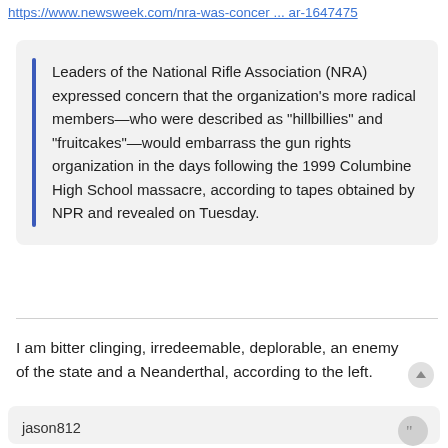https://www.newsweek.com/nra-was-concer ... ar-1647475
Leaders of the National Rifle Association (NRA) expressed concern that the organization's more radical members—who were described as "hillbillies" and "fruitcakes"—would embarrass the gun rights organization in the days following the 1999 Columbine High School massacre, according to tapes obtained by NPR and revealed on Tuesday.
I am bitter clinging, irredeemable, deplorable, an enemy of the state and a Neanderthal, according to the left.
jason812